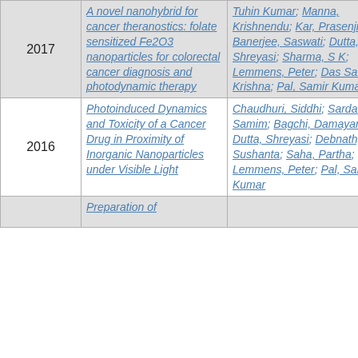| Year | Title | Authors |
| --- | --- | --- |
| 2017 | A novel nanohybrid for cancer theranostics: folate sensitized Fe2O3 nanoparticles for colorectal cancer diagnosis and photodynamic therapy | Tuhin Kumar; Manna, Krishnendu; Kar, Prasenjit; Banerjee, Saswati; Dutta, Shreyasi; Sharma, S K; Lemmens, Peter; Das Saha, Krishna; Pal, Samir Kumar |
| 2016 | Photoinduced Dynamics and Toxicity of a Cancer Drug in Proximity of Inorganic Nanoparticles under Visible Light | Chaudhuri, Siddhi; Sardar, Samim; Bagchi, Damayanti; Dutta, Shreyasi; Debnath, Sushanta; Saha, Partha; Lemmens, Peter; Pal, Samir Kumar |
|  | Preparation of |  |